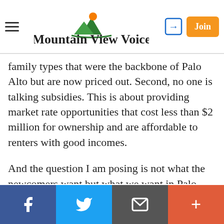Mountain View Voice
family types that were the backbone of Palo Alto but are now priced out. Second, no one is talking subsidies. This is about providing market rate opportunities that cost less than $2 million for ownership and are affordable to renters with good incomes.
And the question I am posing is not what the newcomers want but what we want in Palo Alto going forward.
Do we want to be a town where the only new residents have to be fairly rich?
There are lots of ways to provide market rate housing that is more affordable but the values question is do we want